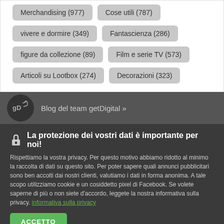Merchandising (977)
Cose utili (787)
vivere e dormire (349)
Fantascienza (286)
figure da collezione (89)
Film e serie TV (573)
Articoli su Lootbox (274)
Decorazioni (323)
Blog del team getDigital »
La protezione dei vostri dati è importante per noi!
Rispettiamo la vostra privacy. Per questo motivo abbiamo ridotto al minimo la raccolta di dati su questo sito. Per poter sapere quali annunci pubblicitari sono ben accolti dai nostri clienti, valutiamo i dati in forma anonima. A tale scopo utilizziamo cookie e un cosiddetto pixel di Facebook. Se volete saperne di più o non siete d'accordo, leggete la nostra informativa sulla privacy. informativa sulla privacy
ACCETTO